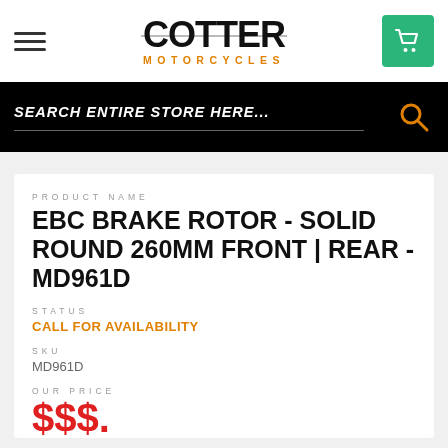Cotter Motorcycles - Navigation header with hamburger menu and cart
SEARCH ENTIRE STORE HERE...
EBC BRAKE ROTOR - SOLID ROUND 260MM FRONT | REAR - MD961D
PRODUCT NAME
STATUS
CALL FOR AVAILABILITY
SKU
MD961D
OUR PRICE